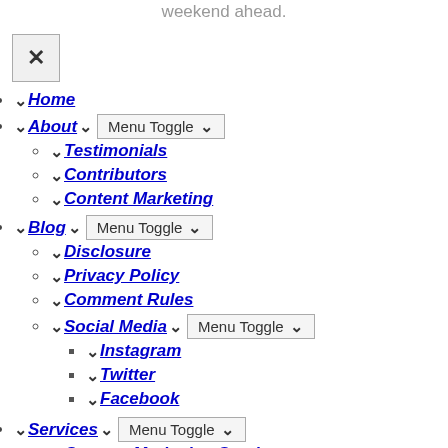weekend ahead.
Home
About | Menu Toggle
Testimonials
Contributors
Content Marketing
Blog | Menu Toggle
Disclosure
Privacy Policy
Comment Rules
Social Media | Menu Toggle
Instagram
Twitter
Facebook
Services | Menu Toggle
Content Marketing Services